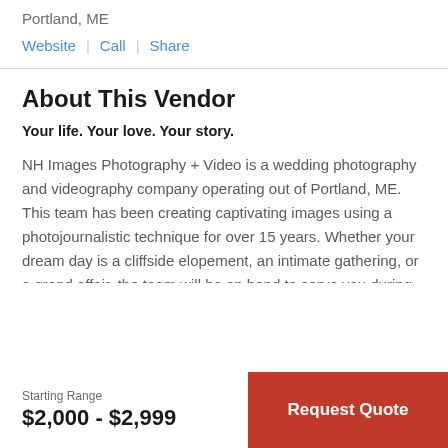Portland, ME
Website | Call | Share
About This Vendor
Your life. Your love. Your story.
NH Images Photography + Video is a wedding photography and videography company operating out of Portland, ME. This team has been creating captivating images using a photojournalistic technique for over 15 years. Whether your dream day is a cliffside elopement, an intimate gathering, or a grand affair, the team will be on hand to serve you during your joyous celebration.
Starting Range
$2,000 - $2,999
Request Quote